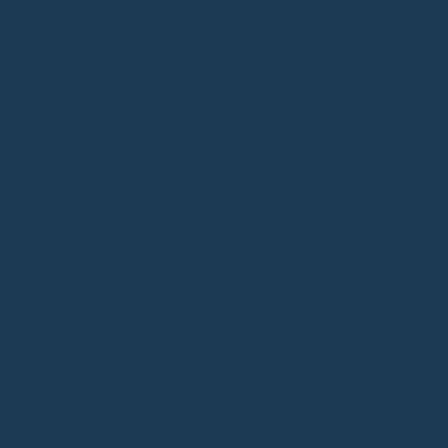[Figure (other): Solid dark navy blue background filling the entire page, approximately #1a3a52 in color with slight texture variation.]